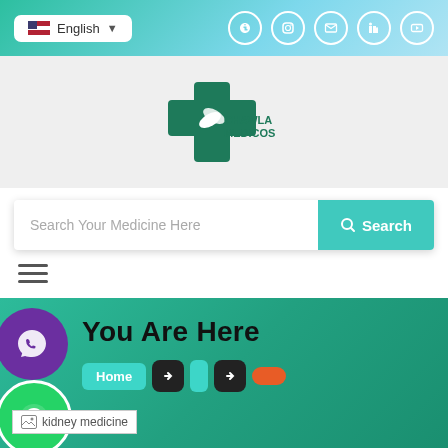English | Social icons: Facebook, Instagram, Twitter, LinkedIn, YouTube
[Figure (logo): Chawla Medicos logo — green medical cross with pill capsules and brand name text]
Search Your Medicine Here
Search
[Figure (other): Hamburger menu icon (three horizontal lines)]
You Are Here
Home
[Figure (other): Breadcrumb navigation with Home button, dark arrow buttons, teal block, and orange pill]
[Figure (photo): kidney medicine image placeholder]